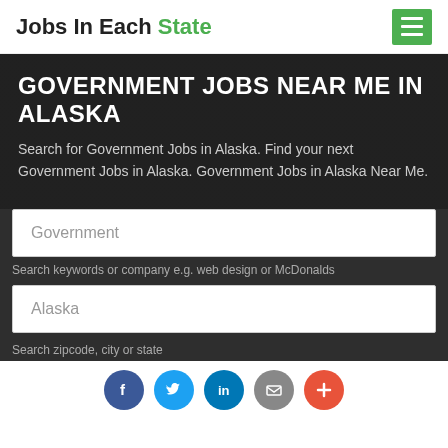Jobs In Each State
GOVERNMENT JOBS NEAR ME IN ALASKA
Search for Government Jobs in Alaska. Find your next Government Jobs in Alaska. Government Jobs in Alaska Near Me.
Government
Search keywords or company e.g. web design or McDonalds
Alaska
Search zipcode, city or state